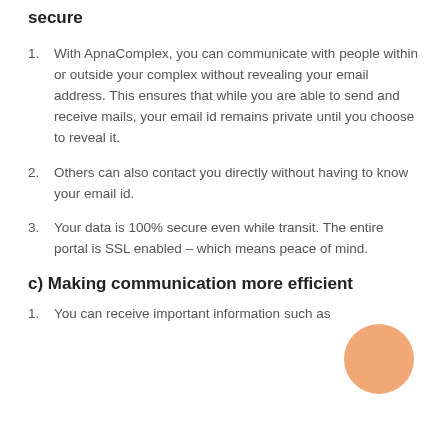secure
With ApnaComplex, you can communicate with people within or outside your complex without revealing your email address. This ensures that while you are able to send and receive mails, your email id remains private until you choose to reveal it.
Others can also contact you directly without having to know your email id.
Your data is 100% secure even while transit. The entire portal is SSL enabled – which means peace of mind.
c) Making communication more efficient
You can receive important information such as